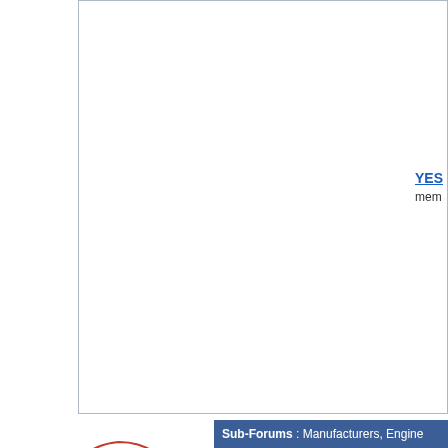[Figure (screenshot): Top white advertisement area with border, partially visible. Contains 'YES' link text and 'mem' (members) text partially cut off on right side.]
[Figure (logo): MMG Motorsports logo with stylized red car outline above text, and 'Superformance' branding below]
[Figure (photo): Photo of a blue Shelby Cobra replica sports car in a showroom]
Sub-Forums : Manufacturers, Engine...
| Forum |
| --- |
| Antique & Collectibles |
| Arntz/Butler Forum |
| BackDraft Racing --- (8 Viewing) |
| B & B Cobra's --- Speak with Anderson (1 Viewing) |
[Figure (logo): Nevada Classics logo with sunburst graphic and red classic car photo below]
Nevada Classics